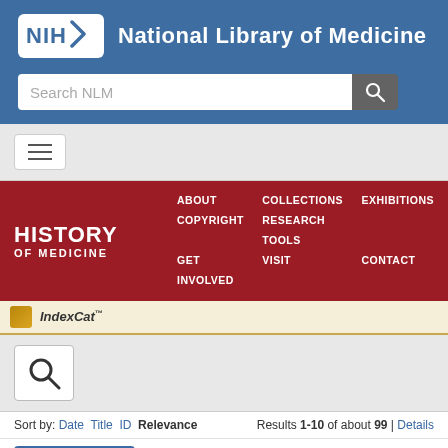[Figure (screenshot): NIH National Library of Medicine website header with blue background, NIH logo and site title]
[Figure (screenshot): Search NLM search bar with magnifying glass button]
[Figure (screenshot): Hamburger navigation menu button on light grey background]
[Figure (screenshot): History of Medicine red banner with navigation links: ABOUT, COLLECTIONS, EXHIBITIONS, COPYRIGHT, RESEARCH TOOLS, GET INVOLVED, VISIT, CONTACT]
[Figure (screenshot): IndexCat logo bar with golden icon]
[Figure (screenshot): Search icon (magnifying glass) on grey background]
Sort by: Date  Title  ID  Relevance   Results 1-10 of about 99 | Details
Index-Catalogue  eTKeVK2  LocatorPlus  PubMed  PubMed Central
Refinements:
Index-Catalogue, Library of the Surgeon-General's Office 1880-1961: Series 4, 1936- > Volume 005 × > Page 1154 ×
Index-Catalogue: Type of Resource: Analytic ×